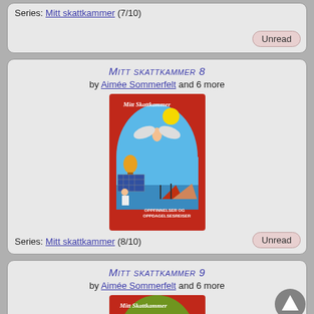Series: Mitt skattkammer (7/10)
Mitt skattkammer 8
by Aimée Sommerfelt and 6 more
[Figure (illustration): Book cover of Mitt skattkammer 8 showing a colorful illustrated scene with an angel with wings flying above ships and a solar panel, on a red background. Text reads 'Oppfinnelser og Oppdagelsesreiser'.]
Series: Mitt skattkammer (8/10)
Mitt skattkammer 9
by Aimée Sommerfelt and 6 more
[Figure (illustration): Partial book cover of Mitt skattkammer 9, red background with illustrated figures.]